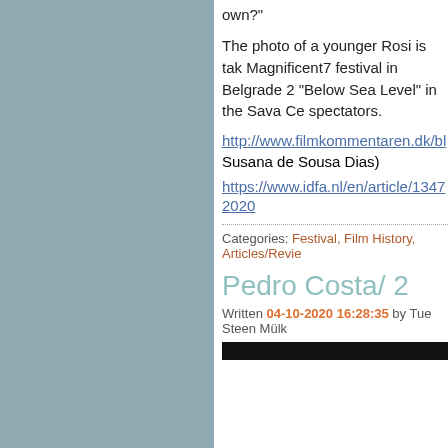own?"
The photo of a younger Rosi is tak Magnificent7 festival in Belgrade 2 "Below Sea Level" in the Sava Ce spectators.
http://www.filmkommentaren.dk/bl (Susana de Sousa Dias)
https://www.idfa.nl/en/article/1347 2020
Categories: Festival, Film History, Articles/Revie
Pedro Costa/ 2
Written 04-10-2020 16:28:35 by Tue Steen Müll